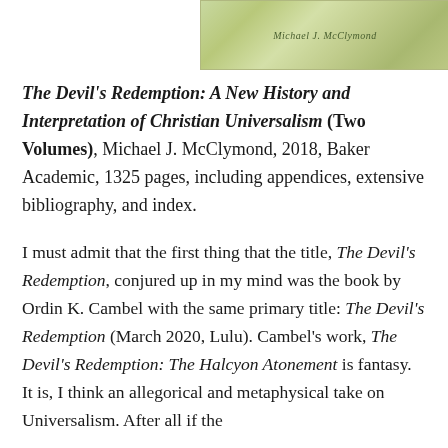[Figure (illustration): Book cover image for The Devil's Redemption by Michael J. McClymond, showing a textured green/yellow background with the author's name visible]
The Devil's Redemption: A New History and Interpretation of Christian Universalism (Two Volumes), Michael J. McClymond, 2018, Baker Academic, 1325 pages, including appendices, extensive bibliography, and index.
I must admit that the first thing that the title, The Devil's Redemption, conjured up in my mind was the book by Ordin K. Cambel with the same primary title: The Devil's Redemption (March 2020, Lulu). Cambel's work, The Devil's Redemption: The Halcyon Atonement is fantasy. It is, I think an allegorical and metaphysical take on Universalism. After all if the